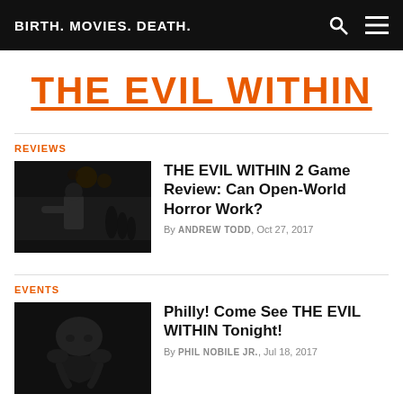BIRTH. MOVIES. DEATH.
THE EVIL WITHIN
REVIEWS
[Figure (photo): Dark screenshot from The Evil Within 2 game showing a character with zombies in background]
THE EVIL WITHIN 2 Game Review: Can Open-World Horror Work?
By ANDREW TODD, Oct 27, 2017
EVENTS
[Figure (photo): Dark moody photo of a bald person crouching, from The Evil Within]
Philly! Come See THE EVIL WITHIN Tonight!
By PHIL NOBILE JR., Jul 18, 2017
REVIEWS